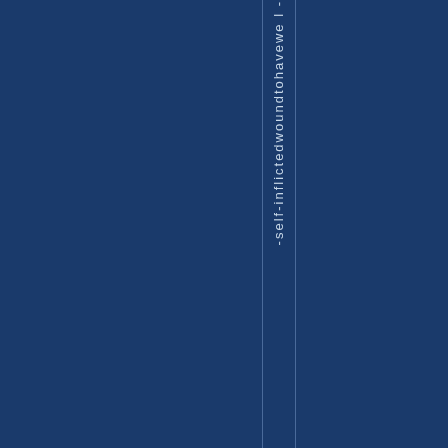[Figure (other): Dark navy blue background page with vertical text reading '-self-inflictedwoundtohavewel' rotated and displayed in a thin vertical column strip between two thin lines, suggesting this is a spine or side panel of a medical document or book cover.]